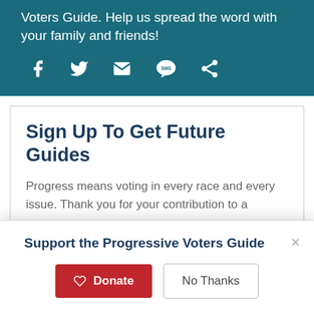Voters Guide. Help us spread the word with your family and friends!
[Figure (infographic): Social sharing icons: Facebook, Twitter, Email, SMS, Share]
Sign Up To Get Future Guides
Progress means voting in every race and every issue. Thank you for your contribution to a
Support the Progressive Voters Guide
Donate
No Thanks